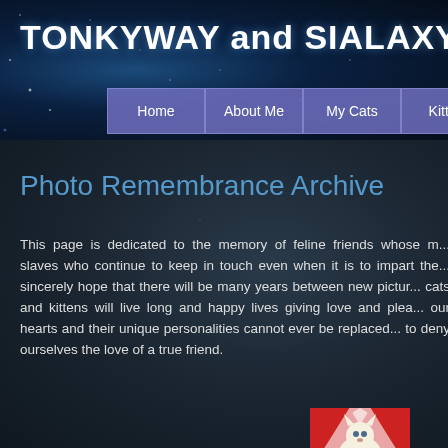TONKYWAY and SIALAXY by Julie Singlet...
Home | About Me | My Cats | Kittens | Retired/Rehome | Re...
Photo Remembrance Archive
This page is dedicated to the memory of feline friends whose m... slaves who continue to keep in touch even when it is to impart the... sincerely hope that there will be many years between new pictur... cats and kittens will live long and happy lives giving love and plea... our hearts and their unique personalities cannot ever be replaced... to deny ourselves the love of a true friend.
[Figure (photo): Small photo of a white cat with red/orange background]